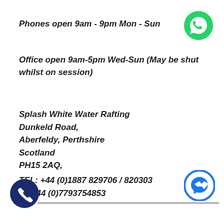Phones open 9am - 9pm Mon - Sun
[Figure (logo): WhatsApp green phone icon]
Office open 9am-5pm Wed-Sun (May be shut whilst on session)
Splash White Water Rafting
Dunkeld Road,
Aberfeldy, Perthshire
Scotland
PH15 2AQ,
[Figure (logo): Facebook Messenger blue circle icon]
TEL: +44 (0)1887 829706 / 820303
M: +44 (0)7793754853
[Figure (logo): Dark blue circle phone call icon]